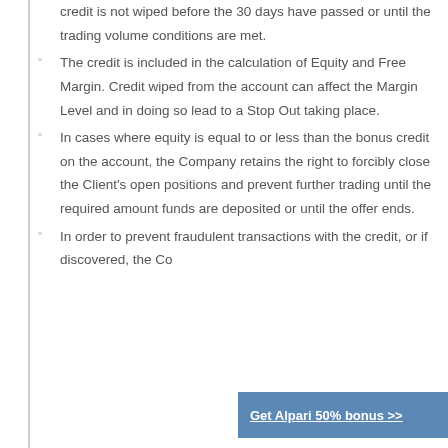credit is not wiped before the 30 days have passed or until the trading volume conditions are met.
The credit is included in the calculation of Equity and Free Margin. Credit wiped from the account can affect the Margin Level and in doing so lead to a Stop Out taking place.
In cases where equity is equal to or less than the bonus credit on the account, the Company retains the right to forcibly close the Client's open positions and prevent further trading until the required amount funds are deposited or until the offer ends.
In order to prevent fraudulent transactions with the credit, or if discovered, the Company...
Get Alpari 50% bonus >>